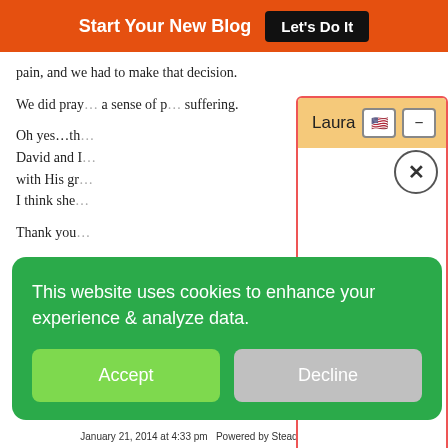Start Your New Blog  Let's Do It
pain, and we had to make that decision.
We did pray... a sense of p... suffering.
Oh yes…th... David and I... with His gr... I think she...
Thank you
-Donna
[Figure (screenshot): Laura chat popup window with orange/yellow header, flag icon, minimize button, and close X button. White content area below.]
[Figure (infographic): Green cookie consent banner with text 'This website uses cookies to enhance your experience & analyze data.' with Accept (green) and Decline (grey) buttons.]
January 21, 2014 at 4:33 pm  Powered by Steady Stream Leads